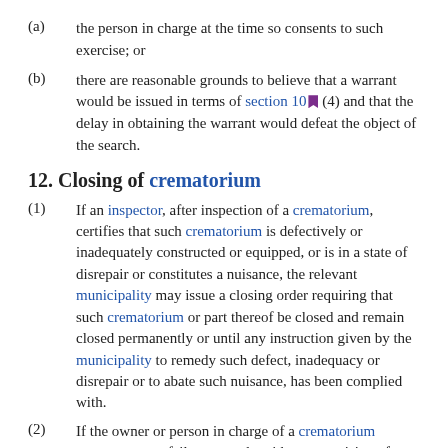(a) the person in charge at the time so consents to such exercise; or
(b) there are reasonable grounds to believe that a warrant would be issued in terms of section 10 (4) and that the delay in obtaining the warrant would defeat the object of the search.
12. Closing of crematorium
(1) If an inspector, after inspection of a crematorium, certifies that such crematorium is defectively or inadequately constructed or equipped, or is in a state of disrepair or constitutes a nuisance, the relevant municipality may issue a closing order requiring that such crematorium or part thereof be closed and remain closed permanently or until any instruction given by the municipality to remedy such defect, inadequacy or disrepair or to abate such nuisance, has been complied with.
(2) If the owner or person in charge of a crematorium contravenes or fails to comply with any provision of